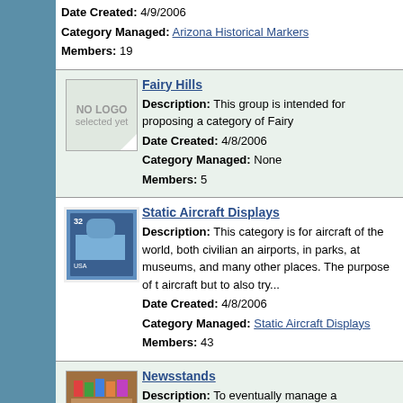Date Created: 4/9/2006
Category Managed: Arizona Historical Markers
Members: 19
Fairy Hills
[Figure (illustration): No logo placeholder box with text 'NO LOGO selected yet' and corner arrow]
Description: This group is intended for proposing a category of Fairy
Date Created: 4/8/2006
Category Managed: None
Members: 5
Static Aircraft Displays
[Figure (photo): Postage stamp image showing aircraft/building, 32 USA denomination]
Description: This category is for aircraft of the world, both civilian an airports, in parks, at museums, and many other places. The purpose of t aircraft but to also try...
Date Created: 4/8/2006
Category Managed: Static Aircraft Displays
Members: 43
Newsstands
[Figure (photo): Photo of a colorful newsstand with magazines and goods on display]
Description: To eventually manage a Newsstands category, and discus
Date Created: 4/7/2006
Category Managed: Newsstands / Newsagencies
Members: 12
Geological Oddities
[Figure (photo): Partial photo visible at page bottom]